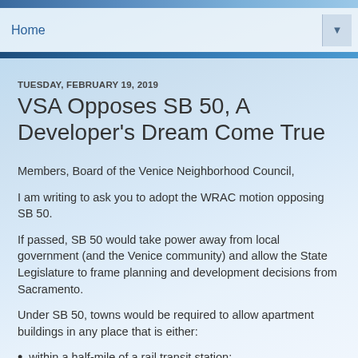Home
TUESDAY, FEBRUARY 19, 2019
VSA Opposes SB 50, A Developer's Dream Come True
Members, Board of the Venice Neighborhood Council,
I am writing to ask you to adopt the WRAC motion opposing SB 50.
If passed, SB 50 would take power away from local government (and the Venice community) and allow the State Legislature to frame planning and development decisions from Sacramento.
Under SB 50, towns would be required to allow apartment buildings in any place that is either:
within a half-mile of a rail transit station;
within a quarter-mile of a high-frequency bus